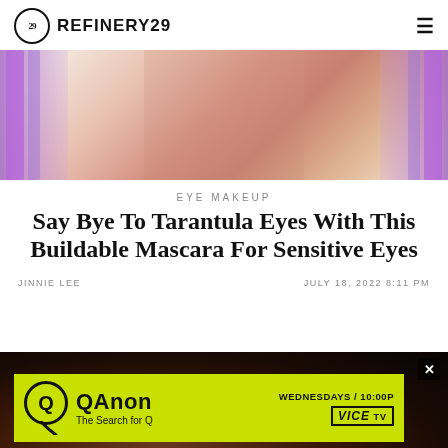REFINERY29
[Figure (photo): Hero image of mascara/beauty products with pink and rose-gold tubes against a neutral background, flanked by purple gradient panels on each side]
EYE MAKEUP
Say Bye To Tarantula Eyes With This Buildable Mascara For Sensitive Eyes
JINNIE LEE   JULY 18, 2022 8:11 PM
[Figure (screenshot): QAnon: The Search for Q advertisement banner on VICE TV — Wednesdays 10:00P, shown over a dark background with person visible]